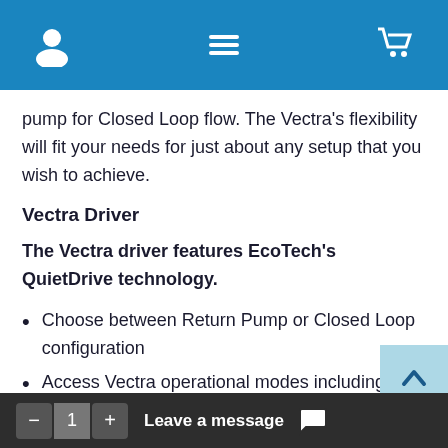[Navigation bar with user icon, menu icon, and cart icon]
pump for Closed Loop flow. The Vectra’s flexibility will fit your needs for just about any setup that you wish to achieve.
Vectra Driver
The Vectra driver features EcoTech’s QuietDrive technology.
Choose between Return Pump or Closed Loop configuration
Access Vectra operational modes including Feed
- 1 + Leave a message